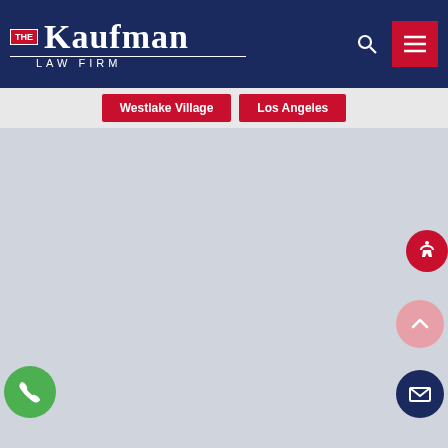The Kaufman Law Firm
Westlake Village Office
4590 Thousand Oaks Blvd #100
Westlake Village, CA 91362
Phone - 818-990-1999
GET DIRECTIONS
Los Angeles Office
11111 Santa Monica Blvd, Suite 1840
Los Angeles, CA 90025
Phone - 310-981-3404